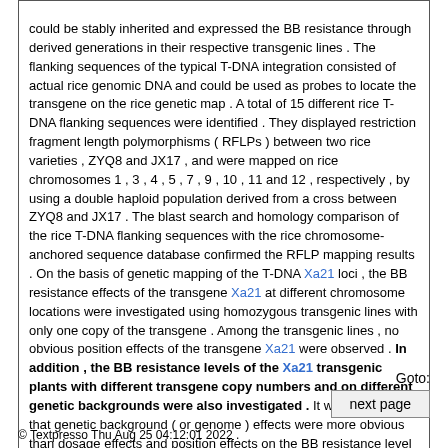could be stably inherited and expressed the BB resistance through derived generations in their respective transgenic lines . The flanking sequences of the typical T-DNA integration consisted of actual rice genomic DNA and could be used as probes to locate the transgene on the rice genetic map . A total of 15 different rice T-DNA flanking sequences were identified . They displayed restriction fragment length polymorphisms ( RFLPs ) between two rice varieties , ZYQ8 and JX17 , and were mapped on rice chromosomes 1 , 3 , 4 , 5 , 7 , 9 , 10 , 11 and 12 , respectively , by using a double haploid population derived from a cross between ZYQ8 and JX17 . The blast search and homology comparison of the rice T-DNA flanking sequences with the rice chromosome-anchored sequence database confirmed the RFLP mapping results . On the basis of genetic mapping of the T-DNA Xa21 loci , the BB resistance effects of the transgene Xa21 at different chromosome locations were investigated using homozygous transgenic lines with only one copy of the transgene . Among the transgenic lines , no obvious position effects of the transgene Xa21 were observed . In addition , the BB resistance levels of the Xa21 transgenic plants with different transgene copy numbers and on different genetic backgrounds were also investigated . It was observed that genetic background ( or genome ) effects were more obvious than dosage effects and position effects on the BB resistance level of the transgenic plants .
Goto:
next page
© Textpresso Thu Aug 25 04:12:01 2022 .